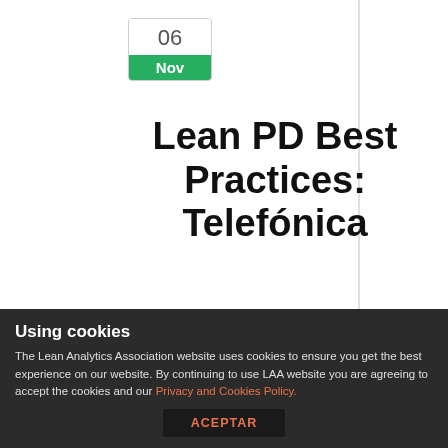06
Nov
Lean PD Best Practices: Telefónica
By Lean Analytics Association
In Articles & Whitepapers, Book Chapters, Library
Telefónica is one of the world's
Using cookies
The Lean Analytics Association website uses cookies to ensure you get the best experience on our website. By continuing to use LAA website you are agreeing to accept the cookies and our Privacy and Cookies Policy.
ACEPTAR